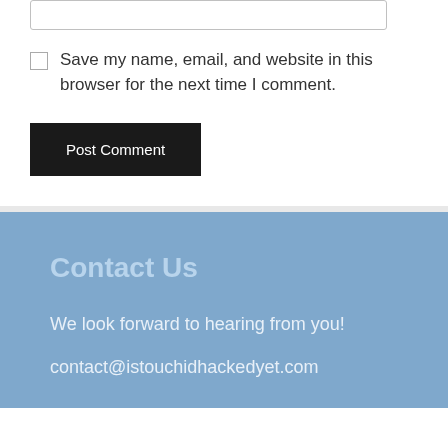Save my name, email, and website in this browser for the next time I comment.
Post Comment
Contact Us
We look forward to hearing from you!
contact@istouchidhackedyet.com